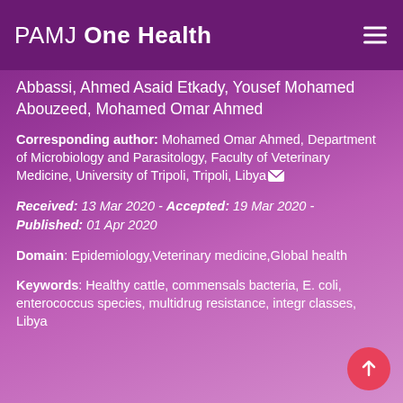PAMJ One Health
Abbassi, Ahmed Asaid Etkady, Yousef Mohamed Abouzeed, Mohamed Omar Ahmed
Corresponding author: Mohamed Omar Ahmed, Department of Microbiology and Parasitology, Faculty of Veterinary Medicine, University of Tripoli, Tripoli, Libya
Received: 13 Mar 2020 - Accepted: 19 Mar 2020 - Published: 01 Apr 2020
Domain: Epidemiology,Veterinary medicine,Global health
Keywords: Healthy cattle, commensals bacteria, E. coli, enterococcus species, multidrug resistance, integr classes, Libya